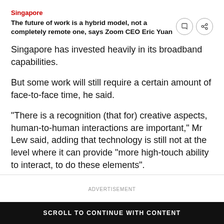Singapore
The future of work is a hybrid model, not a completely remote one, says Zoom CEO Eric Yuan
Singapore has invested heavily in its broadband capabilities.
But some work will still require a certain amount of face-to-face time, he said.
“There is a recognition (that for) creative aspects, human-to-human interactions are important,” Mr Lew said, adding that technology is still not at the level where it can provide “more high-touch ability to interact, to do these elements”.
ADVERTISEMENT
SCROLL TO CONTINUE WITH CONTENT